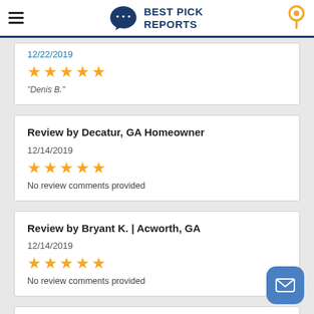Best Pick Reports
12/22/2019
[Figure (other): 5 orange stars rating]
"Denis B."
Review by Decatur, GA Homeowner
12/14/2019
[Figure (other): 5 orange stars rating]
No review comments provided
Review by Bryant K. | Acworth, GA
12/14/2019
[Figure (other): 5 orange stars rating]
No review comments provided
Review by Deborah F. | Canton,